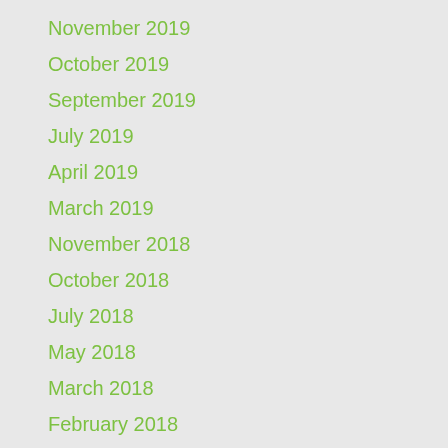November 2019
October 2019
September 2019
July 2019
April 2019
March 2019
November 2018
October 2018
July 2018
May 2018
March 2018
February 2018
January 2018
November 2017
September 2017
August 2017
July 2017
June 2017
April 2017